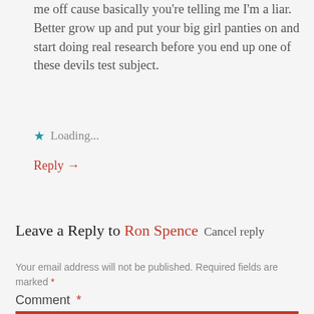me off cause basically you're telling me I'm a liar. Better grow up and put your big girl panties on and start doing real research before you end up one of these devils test subject.
Loading...
Reply →
Leave a Reply to Ron Spence Cancel reply
Your email address will not be published. Required fields are marked *
Comment *